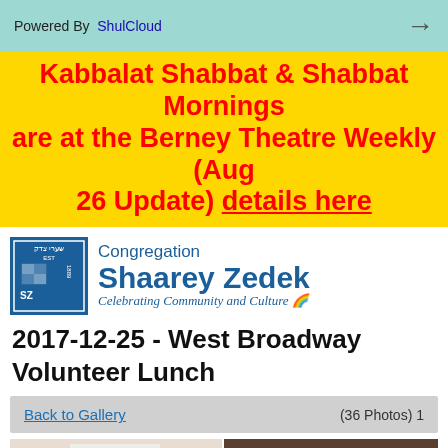Powered By ShulCloud
Kabbalat Shabbat & Shabbat Mornings are at the Berney Theatre Weekly (Aug 26 Update) details here
[Figure (logo): Congregation Shaarey Zedek logo — blue square emblem with Hebrew text and year 1889, beside text 'Congregation Shaarey Zedek, Celebrating Community and Culture']
2017-12-25 - West Broadway Volunteer Lunch
Back to Gallery    (36 Photos) 1
[Figure (photo): Two side-by-side photos: left shows a man wearing glasses at a volunteer lunch event; right shows people seated at a table with Hanukkah/Christmas candles and a decorated tree in the background.]